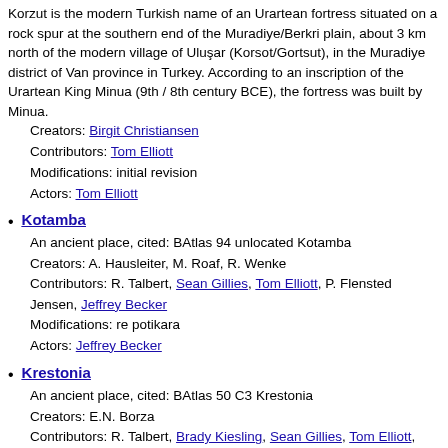Korzut is the modern Turkish name of an Urartean fortress situated on a rock spur at the southern end of the Muradiye/Berkri plain, about 3 km north of the modern village of Uluşar (Korsot/Gortsut), in the Muradiye district of Van province in Turkey. According to an inscription of the Urartean King Minua (9th / 8th century BCE), the fortress was built by Minua.
Creators: Birgit Christiansen
Contributors: Tom Elliott
Modifications: initial revision
Actors: Tom Elliott
Kotamba
An ancient place, cited: BAtlas 94 unlocated Kotamba
Creators: A. Hausleiter, M. Roaf, R. Wenke
Contributors: R. Talbert, Sean Gillies, Tom Elliott, P. Flensted Jensen, Jeffrey Becker
Modifications: re potikara
Actors: Jeffrey Becker
Krestonia
An ancient place, cited: BAtlas 50 C3 Krestonia
Creators: E.N. Borza
Contributors: R. Talbert, Brady Kiesling, Sean Gillies, Tom Elliott, Jeffrey Becker
Modifications: add lots more